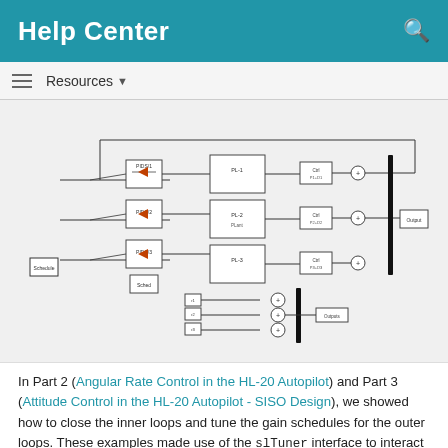Help Center
Resources
[Figure (schematic): Simulink block diagram showing an HL-20 autopilot control system with multiple feedback loops, gain schedule blocks, PID controllers, summing junctions, and signal routing for angular rate and attitude control.]
In Part 2 (Angular Rate Control in the HL-20 Autopilot) and Part 3 (Attitude Control in the HL-20 Autopilot - SISO Design), we showed how to close the inner loops and tune the gain schedules for the outer loops. These examples made use of the slTuner interface to interact with the Simulink model, obtain linearized models and control system responses, and push tuned values back to Simulink.